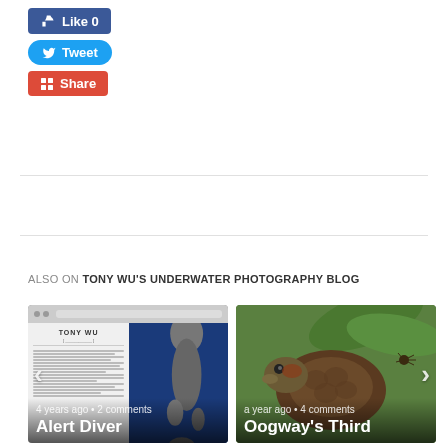[Figure (screenshot): Facebook Like button showing 0 likes]
[Figure (screenshot): Twitter Tweet button]
[Figure (screenshot): Google Plus Share button]
ALSO ON TONY WU'S UNDERWATER PHOTOGRAPHY BLOG
[Figure (screenshot): Card showing Tony Wu book/magazine page with sea lion - 4 years ago, 2 comments, Alert Diver]
[Figure (photo): Card showing turtle/tortoise close-up on green background - a year ago, 4 comments, Oogway's Third]